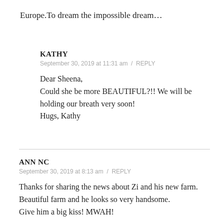Europe.To dream the impossible dream…
KATHY
September 30, 2019 at 11:31 am / REPLY

Dear Sheena,
Could she be more BEAUTIFUL?!! We will be holding our breath very soon!
Hugs, Kathy
ANN NC
September 30, 2019 at 8:13 am / REPLY

Thanks for sharing the news about Zi and his new farm.
Beautiful farm and he looks so very handsome.
Give him a big kiss! MWAH!